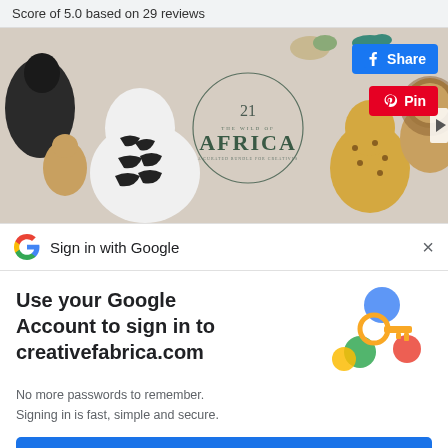Score of 5.0 based on 29 reviews
[Figure (illustration): Decorative image showing African wild animals (zebra, lion, cheetah, birds, black panther, monkey) with text 'THE WILD OF AFRICA 21' in the center, with Facebook Share and Pinterest Pin buttons overlaid]
Sign in with Google
Use your Google Account to sign in to creativefabrica.com
[Figure (illustration): Google key illustration showing a golden key with colorful circles (blue, green, red, yellow)]
No more passwords to remember.
Signing in is fast, simple and secure.
Continue